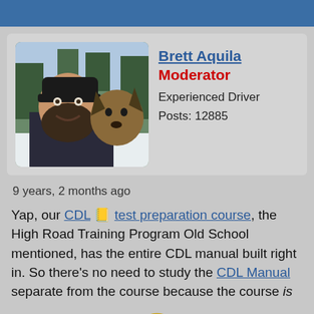[Figure (photo): Profile photo of Brett Aquila, a bearded man wearing a black knit hat, smiling outdoors in a snowy setting with a German Shepherd dog next to him.]
Brett Aquila
Moderator
Experienced Driver
Posts: 12885
9 years, 2 months ago
Yap, our CDL 📒 test preparation course, the High Road Training Program Old School mentioned, has the entire CDL manual built right in. So there's no need to study the CDL Manual separate from the course because the course is
[Figure (illustration): Yellow smiley face emoji with wide surprised eyes and a big grin, partially shown at the bottom of the page.]